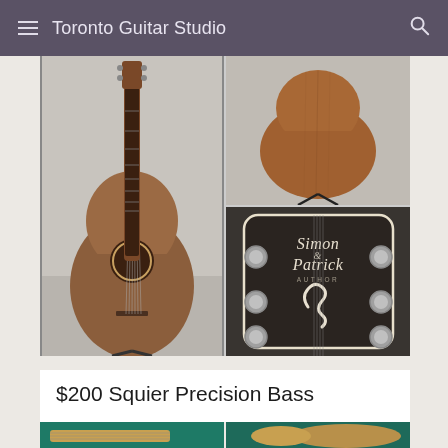Toronto Guitar Studio
[Figure (photo): Four-panel photo collage of a Simon & Patrick acoustic guitar: front view (left spanning full height), back/body view (top right), and headstock close-up showing 'Simon & Patrick AUTHOR' branding (bottom right).]
$200 Squier Precision Bass
[Figure (photo): Two partial photos of a Squier Precision Bass guitar on a teal/green surface, showing the neck and body.]